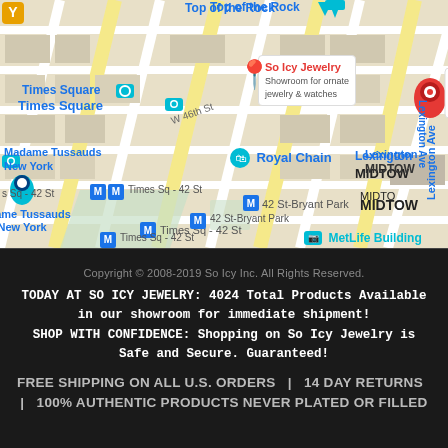[Figure (map): Google Maps screenshot showing midtown Manhattan area with So Icy Jewelry marked with a red pin as 'Showroom for ornate jewelry & watches'. Nearby landmarks include Times Square, Madame Tussauds New York, Royal Chain, Times Sq - 42 St subway stations, 42 St-Bryant Park, MetLife Building, and Lexington Ave / MIDTOWN label on right side.]
Copyright © 2008-2019 So Icy Inc. All Rights Reserved.
TODAY AT SO ICY JEWELRY: 4024 Total Products Available in our showroom for immediate shipment! SHOP WITH CONFIDENCE: Shopping on So Icy Jewelry is Safe and Secure. Guaranteed!
FREE SHIPPING ON ALL U.S. ORDERS  |  14 DAY RETURNS  |  100% AUTHENTIC PRODUCTS NEVER PLATED OR FILLED